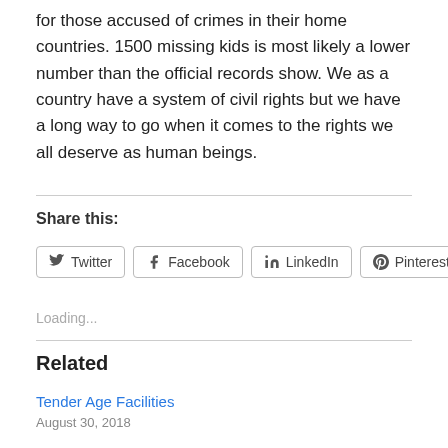for those accused of crimes in their home countries. 1500 missing kids is most likely a lower number than the official records show. We as a country have a system of civil rights but we have a long way to go when it comes to the rights we all deserve as human beings.
Share this:
Twitter  Facebook  LinkedIn  Pinterest
Loading...
Related
Tender Age Facilities
August 30, 2018